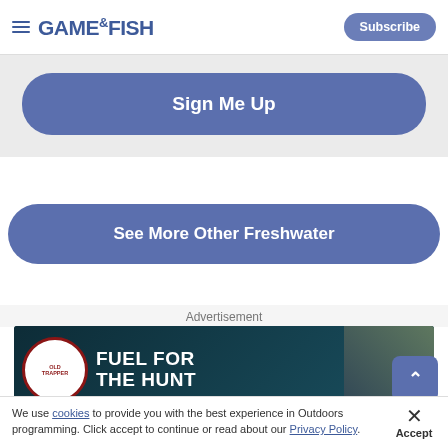Game & Fish — Subscribe
Sign Me Up
See More Other Freshwater
Advertisement
[Figure (photo): Old Trapper advertisement banner: 'FUEL FOR THE HUNT' with logo and person in fur coat holding rifle]
Advertisement (overlay strip)
We use cookies to provide you with the best experience in Outdoors programming. Click accept to continue or read about our Privacy Policy.